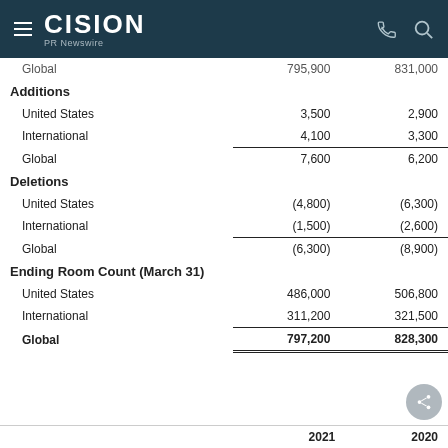CISION PR Newswire
|  | 2021 | 2020 |
| --- | --- | --- |
| Global | 795,900 | 831,000 |
| Additions |  |  |
| United States | 3,500 | 2,900 |
| International | 4,100 | 3,300 |
| Global | 7,600 | 6,200 |
| Deletions |  |  |
| United States | (4,800) | (6,300) |
| International | (1,500) | (2,600) |
| Global | (6,300) | (8,900) |
| Ending Room Count (March 31) |  |  |
| United States | 486,000 | 506,800 |
| International | 311,200 | 321,500 |
| Global | 797,200 | 828,300 |
2021   2020